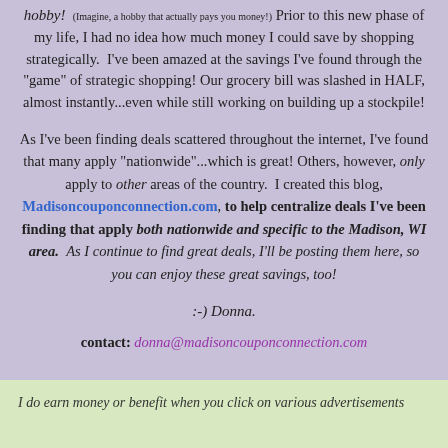hobby! (Imagine, a hobby that actually pays you money!) Prior to this new phase of my life, I had no idea how much money I could save by shopping strategically. I've been amazed at the savings I've found through the "game" of strategic shopping! Our grocery bill was slashed in HALF, almost instantly...even while still working on building up a stockpile!
As I've been finding deals scattered throughout the internet, I've found that many apply "nationwide"...which is great! Others, however, only apply to other areas of the country. I created this blog, Madisoncouponconnection.com, to help centralize deals I've been finding that apply both nationwide and specific to the Madison, WI area. As I continue to find great deals, I'll be posting them here, so you can enjoy these great savings, too!
:-) Donna.
contact: donna@madisoncouponconnection.com
I do earn money or benefit when you click on various advertisements